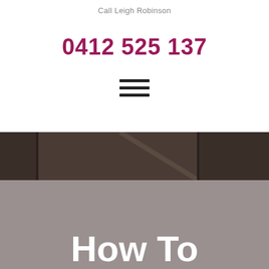Call Leigh Robinson
0412 525 137
[Figure (other): Hamburger menu icon with three horizontal lines]
[Figure (photo): Interior room photo with dark upper section showing ceiling/walls, transitioning to a grey overlay with large white bold text 'How To' at the bottom]